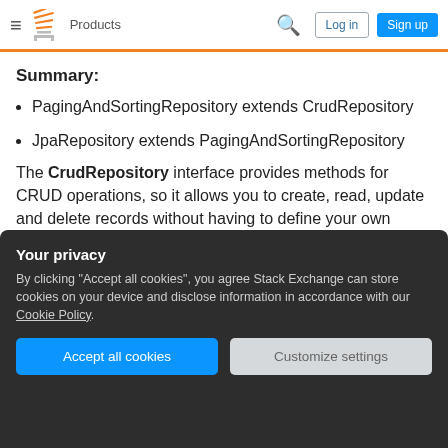Stack Overflow — Products | Log in | Sign up
Summary:
PagingAndSortingRepository extends CrudRepository
JpaRepository extends PagingAndSortingRepository
The CrudRepository interface provides methods for CRUD operations, so it allows you to create, read, update and delete records without having to define your own methods.
Your privacy
By clicking "Accept all cookies", you agree Stack Exchange can store cookies on your device and disclose information in accordance with our Cookie Policy.
Accept all cookies   Customize settings
functionality that is specific to JPA.